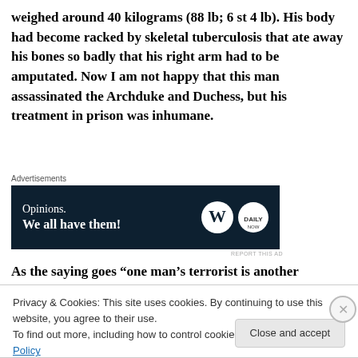weighed around 40 kilograms (88 lb; 6 st 4 lb). His body had become racked by skeletal tuberculosis that ate away his bones so badly that his right arm had to be amputated. Now I am not happy that this man assassinated the Archduke and Duchess, but his treatment in prison was inhumane.
[Figure (other): Advertisement banner: dark navy background with text 'Opinions. We all have them!' and WordPress and Daily Now logos]
As the saying goes “one man’s terrorist is another
Privacy & Cookies: This site uses cookies. By continuing to use this website, you agree to their use.
To find out more, including how to control cookies, see here: Cookie Policy